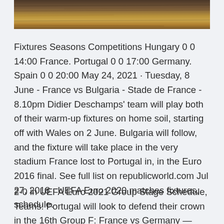[Figure (photo): Partial photo showing a wooden surface or table, cropped at the top of the page]
Fixtures Seasons Competitions Hungary 0 0 14:00 France. Portugal 0 0 17:00 Germany. Spain 0 0 20:00 May 24, 2021 · Tuesday, 8 June - France vs Bulgaria - Stade de France - 8.10pm Didier Deschamps' team will play both of their warm-up fixtures on home soil, starting off with Wales on 2 June. Bulgaria will follow, and the fixture will take place in the very stadium France lost to Portugal in, in the Euro 2016 final. See full list on republicworld.com Jul 27, 2018 · UEFA Euro 2020 matches fixtures, schedule.
2-0 in UEFA Euro 2021 Group Stage Schedule, Teams: Portugal will look to defend their crown in the 16th Group F: France vs Germany — 12:30 AM IST, Munich